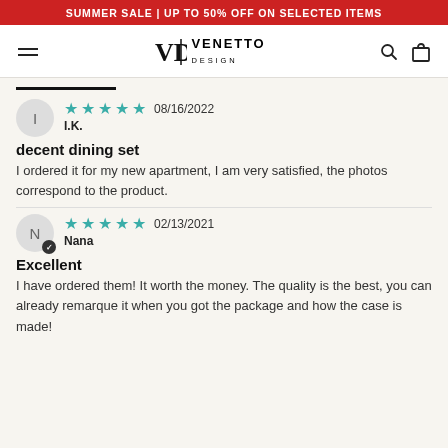SUMMER SALE | UP TO 50% OFF ON SELECTED ITEMS
[Figure (logo): Venetto Design logo with VD monogram and text]
I.K. — 5 stars — 08/16/2022
decent dining set
I ordered it for my new apartment, I am very satisfied, the photos correspond to the product.
Nana — 5 stars — 02/13/2021
Excellent
I have ordered them! It worth the money. The quality is the best, you can already remarque it when you got the package and how the case is made!